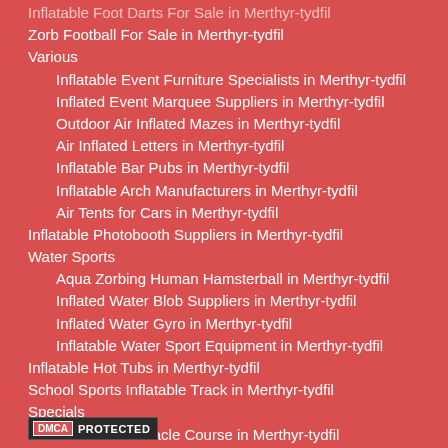Inflatable Foot Darts For Sale in Merthyr-tydfil
Zorb Football For Sale in Merthyr-tydfil
Various
Inflatable Event Furniture Specialists in Merthyr-tydfil
Inflated Event Marquee Suppliers in Merthyr-tydfil
Outdoor Air Inflated Mazes in Merthyr-tydfil
Air Inflated Letters in Merthyr-tydfil
Inflatable Bar Pubs in Merthyr-tydfil
Inflatable Arch Manufacturers in Merthyr-tydfil
Air Tents for Cars in Merthyr-tydfil
Inflatable Photobooth Suppliers in Merthyr-tydfil
Water Sports
Aqua Zorbing Human Hamsterball in Merthyr-tydfil
Inflated Water Blob Suppliers in Merthyr-tydfil
Inflated Water Gyro in Merthyr-tydfil
Inflatable Water Sport Equipment in Merthyr-tydfil
Inflatable Hot Tubs in Merthyr-tydfil
School Sports Inflatable Track in Merthyr-tydfil
Specials
Inflatable Obstacle Course in Merthyr-tydfil
Bouncy Castle Assault Course in Merthyr-tydfil
[Figure (logo): DMCA PROTECTED badge]